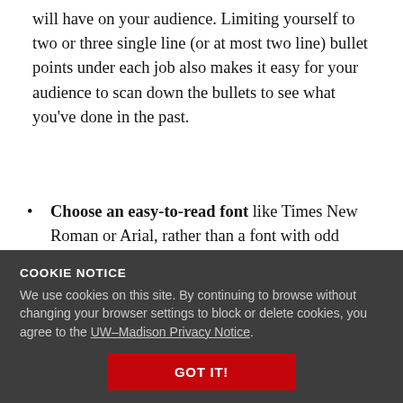will have on your audience. Limiting yourself to two or three single line (or at most two line) bullet points under each job also makes it easy for your audience to scan down the bullets to see what you've done in the past.
Choose an easy-to-read font like Times New Roman or Arial, rather than a font with odd flourishes. You want your resume to stand out because of its content,
not because you've chosen a strange font.
COOKIE NOTICE
We use cookies on this site. By continuing to browse without changing your browser settings to block or delete cookies, you agree to the UW–Madison Privacy Notice.
Use space wisely. ... of experience ... relevant to the job you are applying for. At what you...